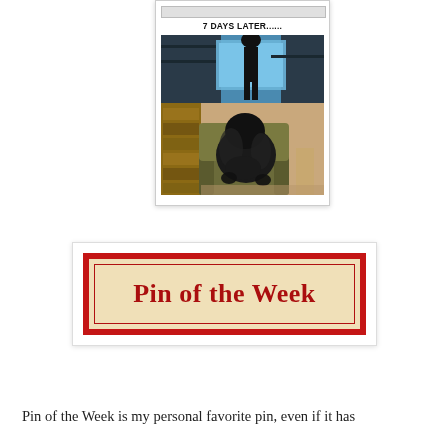[Figure (photo): A meme card showing '7 DAYS LATER......' text with two photos: top shows a dark figure at a computer screen (horror movie parody), bottom shows a large black fluffy dog sitting in an armchair like a person.]
[Figure (illustration): Pin of the Week banner image: red border with cream/beige interior, displaying 'Pin of the Week' in large red serif font with decorative border lines.]
Pin of the Week is my personal favorite pin, even if it has